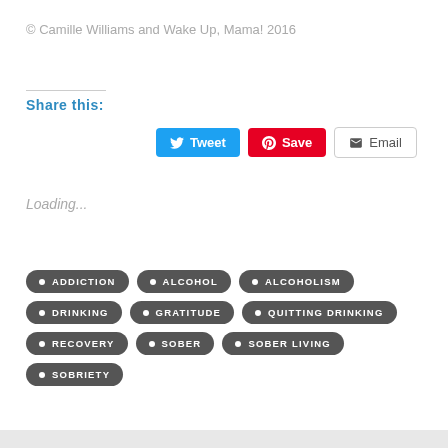© Camille Williams and Wake Up, Mama! 2016
Share this:
[Figure (screenshot): Social sharing buttons: Tweet (blue), Save (red/Pinterest), Email (white/outlined)]
Loading...
ADDICTION
ALCOHOL
ALCOHOLISM
DRINKING
GRATITUDE
QUITTING DRINKING
RECOVERY
SOBER
SOBER LIVING
SOBRIETY